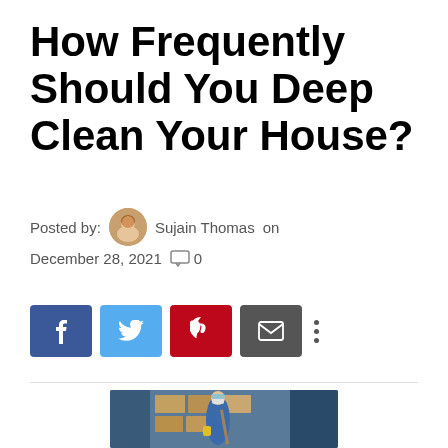How Frequently Should You Deep Clean Your House?
Posted by: Sujain Thomas on December 28, 2021  0
[Figure (other): Social share buttons: Facebook, Twitter, Pinterest, Email, and more options (three dots)]
[Figure (photo): A person wearing a blue work uniform, yellow gloves, goggles and face mask, mopping a warehouse floor with shelves and boxes in the background]